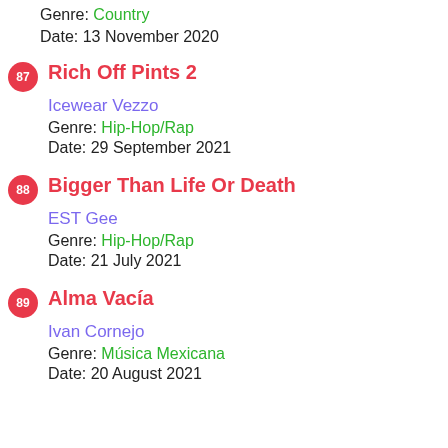Genre: Country
Date: 13 November 2020
87 Rich Off Pints 2
Icewear Vezzo
Genre: Hip-Hop/Rap
Date: 29 September 2021
88 Bigger Than Life Or Death
EST Gee
Genre: Hip-Hop/Rap
Date: 21 July 2021
89 Alma Vacía
Ivan Cornejo
Genre: Música Mexicana
Date: 20 August 2021